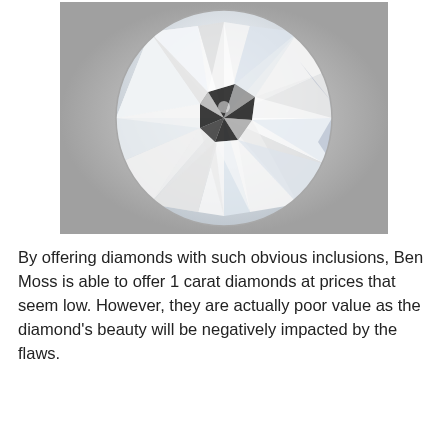[Figure (photo): Close-up photograph of a round brilliant cut diamond viewed from above, showing facets with dark star-shaped inclusions visible at the center, set against a gray background.]
By offering diamonds with such obvious inclusions, Ben Moss is able to offer 1 carat diamonds at prices that seem low. However, they are actually poor value as the diamond's beauty will be negatively impacted by the flaws.